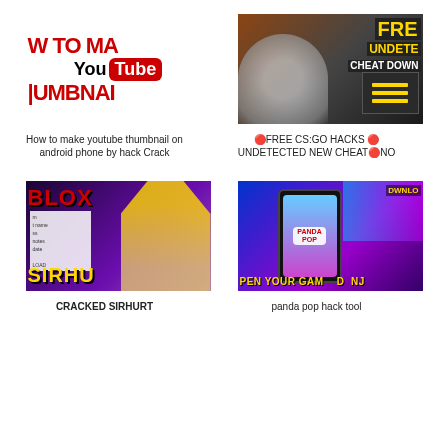[Figure (screenshot): YouTube thumbnail tutorial thumbnail showing 'HOW TO MAKE YouTube THUMBNAIL' text in red and black]
How to make youtube thumbnail on android phone by hack Crack
[Figure (screenshot): CS:GO hacks thumbnail showing 'FREE UNDETECTED CHEAT DOWNLOAD' in yellow on dark background with cartoon hand]
🔴FREE CS:GO HACKS 🔴 UNDETECTED NEW CHEAT🔴NO
[Figure (screenshot): Roblox BLOX game thumbnail with 'CRACKED SIRHURT' text and Roblox character]
CRACKED SIRHURT
[Figure (screenshot): Panda Pop mobile game hack tutorial thumbnail showing phone with game app and 'OPEN YOUR GAME' text]
panda pop hack tool